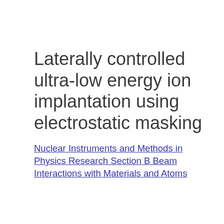Laterally controlled ultra-low energy ion implantation using electrostatic masking
Nuclear Instruments and Methods in Physics Research Section B Beam Interactions with Materials and Atoms